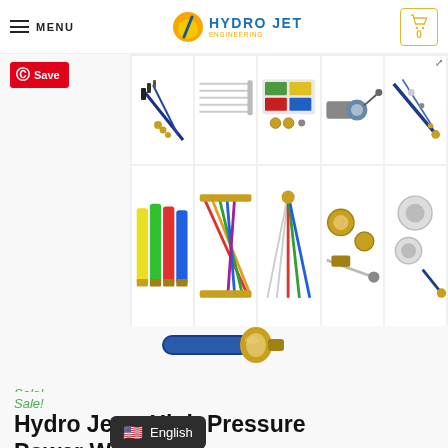MENU | HYDRO JET | Cart: 0
[Figure (screenshot): Pinterest Save button (red) in top left below header]
[Figure (photo): Grid of product photos showing pressure washer nozzles, tips, connectors, and accessories in two rows across the right side of the page]
[Figure (photo): Hero center image: blue high-pressure washer hose with brass/gold connector fitting]
Sale!
Hydro Jet™ High Pressure Power Washer
$26.99 – $39.99  -50%
100% [satisfied] with this product.